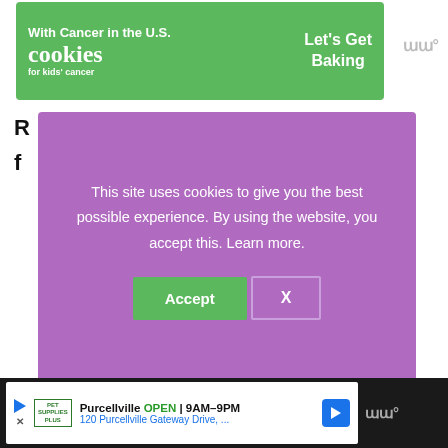[Figure (screenshot): Advertisement banner for 'Cookies for Kids Cancer' with green background, text reading 'With Cancer in the U.S.' and 'Let's Get Baking', featuring a cookie graphic]
R f
[Figure (screenshot): Cookie consent dialog overlay with purple background. Text: 'This site uses cookies to give you the best possible experience. By using the website, you accept this. Learn more.' Two buttons: 'Accept' (green) and 'X' (outlined).]
[Figure (screenshot): Bottom advertisement for Pet Supplies Plus, Purcellville location. OPEN 9AM-9PM. 120 Purcellville Gateway Drive. Includes navigation icon.]